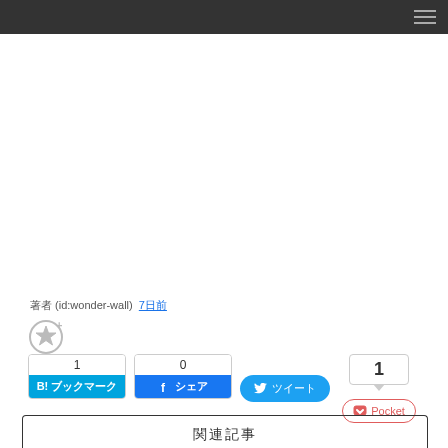Navigation bar with hamburger menu
著者 (id:wonder-wall) 7日前
[Figure (other): Add to favorites star icon with plus sign]
[Figure (other): Hatena Bookmark button with count 1 and B!ブックマーク label]
[Figure (other): Facebook share button with count 0 and シェア label]
[Figure (other): Twitter share button with ツイート label]
[Figure (other): Pocket save button showing count 1 with Pocket label below]
関連記事